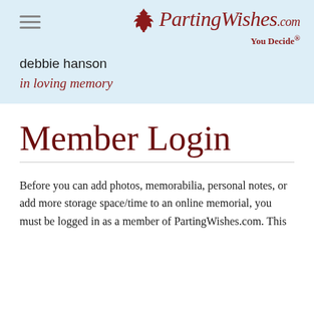PartingWishes.com — You Decide®
debbie hanson
in loving memory
Member Login
Before you can add photos, memorabilia, personal notes, or add more storage space/time to an online memorial, you must be logged in as a member of PartingWishes.com. This